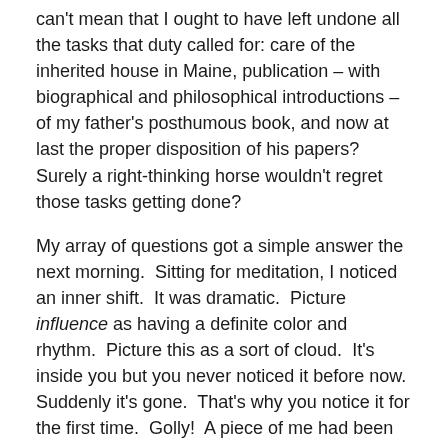can't mean that I ought to have left undone all the tasks that duty called for: care of the inherited house in Maine, publication – with biographical and philosophical introductions – of my father's posthumous book, and now at last the proper disposition of his papers?  Surely a right-thinking horse wouldn't regret those tasks getting done?
My array of questions got a simple answer the next morning.  Sitting for meditation, I noticed an inner shift.  It was dramatic.  Picture influence as having a definite color and rhythm.  Picture this as a sort of cloud.  It's inside you but you never noticed it before now.  Suddenly it's gone.  That's why you notice it for the first time.  Golly!  A piece of me had been owned by my parents.  Now it was returned.  I had graduated – from Filial Piety School!
Louisa May Alcott, author of Little Women, wrote of